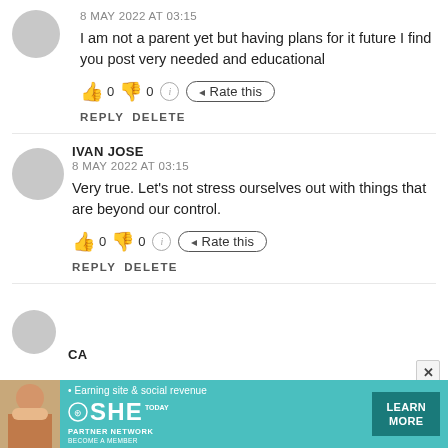8 MAY 2022 AT 03:15
I am not a parent yet but having plans for it future I find you post very needed and educational
👍 0 👎 0 ℹ Rate this
REPLY DELETE
IVAN JOSE
8 MAY 2022 AT 03:15
Very true. Let's not stress ourselves out with things that are beyond our control.
👍 0 👎 0 ℹ Rate this
REPLY DELETE
CA
[Figure (infographic): Teal advertisement banner for SHE Media Partner Network with woman photo, tagline 'Earning site & social revenue', SHE logo, and LEARN MORE button]